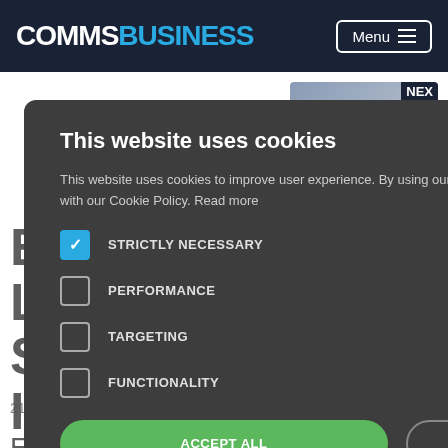COMMSBUSINESS | Menu
[Figure (screenshot): Background article page showing 'Exponential-e Launched Cloud Storage Infrastructure' article with NEWS section tag and article metadata]
This website uses cookies
This website uses cookies to improve user experience. By using our website you consent to all cookies in accordance with our Cookie Policy. Read more
STRICTLY NECESSARY
PERFORMANCE
TARGETING
FUNCTIONALITY
ACCEPT ALL
DECLINE ALL
SHOW DETAILS